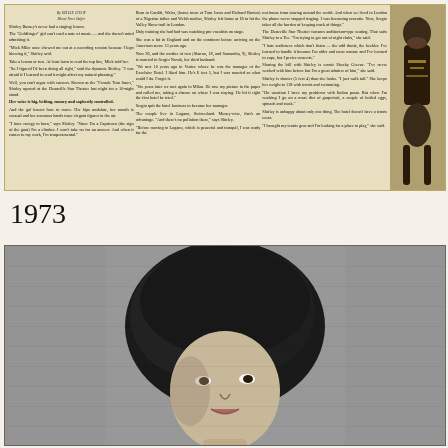[Figure (photo): Newspaper clipping with three columns of text about Shirley Bassey, with a photo of a woman in an ornate costume on the right side. Byline reads By Billie O'Day. Article discusses Shirley Bassey's career, her husband Sergio Novak, and her performances at the Deauville Star Theater.]
1973
[Figure (photo): Large black and white photograph of a woman with a bouffant hairstyle, facing slightly to the right, grainy newspaper-style print.]